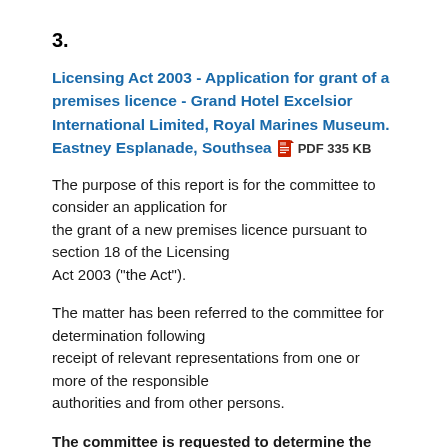3.
Licensing Act 2003 - Application for grant of a premises licence - Grand Hotel Excelsior International Limited, Royal Marines Museum. Eastney Esplanade, Southsea  PDF 335 KB
The purpose of this report is for the committee to consider an application for the grant of a new premises licence pursuant to section 18 of the Licensing Act 2003 ("the Act").
The matter has been referred to the committee for determination following receipt of relevant representations from one or more of the responsible authorities and from other persons.
The committee is requested to determine the